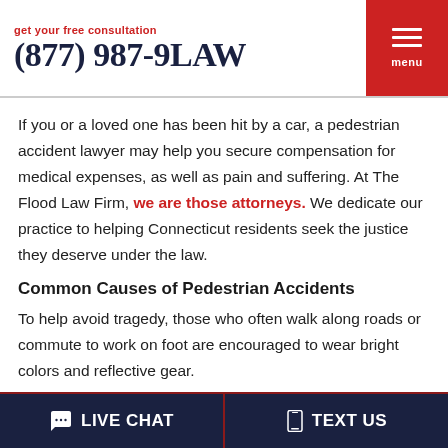get your free consultation
(877) 987-9LAW
If you or a loved one has been hit by a car, a pedestrian accident lawyer may help you secure compensation for medical expenses, as well as pain and suffering. At The Flood Law Firm, we are those attorneys. We dedicate our practice to helping Connecticut residents seek the justice they deserve under the law.
Common Causes of Pedestrian Accidents
To help avoid tragedy, those who often walk along roads or commute to work on foot are encouraged to wear bright colors and reflective gear.
LIVE CHAT | TEXT US